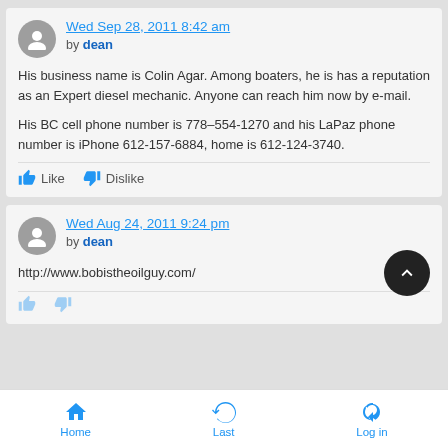Wed Sep 28, 2011 8:42 am by dean
His business name is Colin Agar. Among boaters, he is has a reputation as an Expert diesel mechanic. Anyone can reach him now by e-mail.

His BC cell phone number is 778–554-1270 and his LaPaz phone number is iPhone 612-157-6884, home is 612-124-3740.
Wed Aug 24, 2011 9:24 pm by dean
http://www.bobistheoilguy.com/